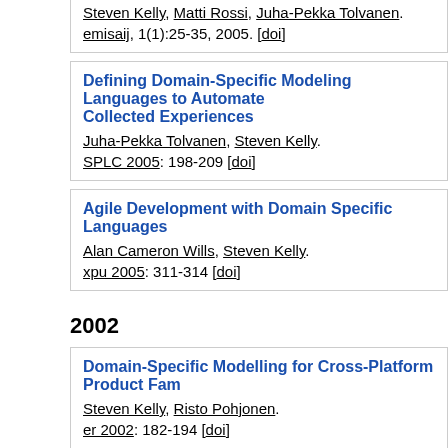Steven Kelly, Matti Rossi, Juha-Pekka Tolvanen.
emisaij, 1(1):25-35, 2005. [doi]
Defining Domain-Specific Modeling Languages to Automate ... Collected Experiences
Juha-Pekka Tolvanen, Steven Kelly.
SPLC 2005: 198-209 [doi]
Agile Development with Domain Specific Languages
Alan Cameron Wills, Steven Kelly.
xpu 2005: 311-314 [doi]
2002
Domain-Specific Modelling for Cross-Platform Product Fam...
Steven Kelly, Risto Pohjonen.
er 2002: 182-194 [doi]